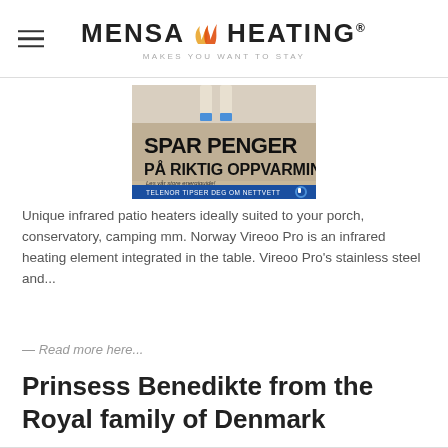MENSA HEATING® MAKES YOU WANT TO STAY
[Figure (photo): Advertisement image with text 'SPAR PENGER PÅ RIKTIG OPPVARMING' and 'TELENOR TIPSER DEG OM NETTVETT']
Unique infrared patio heaters ideally suited to your porch, conservatory, camping mm. Norway Vireoo Pro is an infrared heating element integrated in the table. Vireoo Pro's stainless steel and...
— Read more here...
Prinsess Benedikte from the Royal family of Denmark